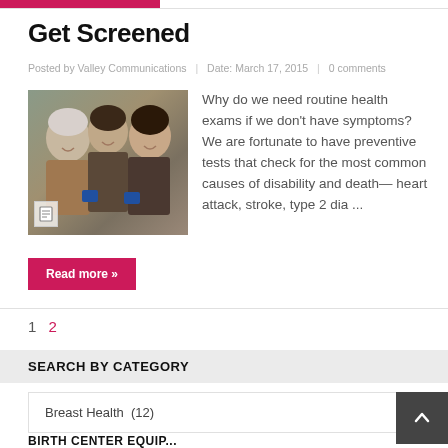Get Screened
Posted by Valley Communications  |  Date: March 17, 2015  |  0 comments
[Figure (photo): Three women smiling together, holding mugs]
Why do we need routine health exams if we don't have symptoms? We are fortunate to have preventive tests that check for the most common causes of disability and death— heart attack, stroke, type 2 dia ...
Read more »
1  2
SEARCH BY CATEGORY
Breast Health  (12)
BIRTH CENTER EQUIP...